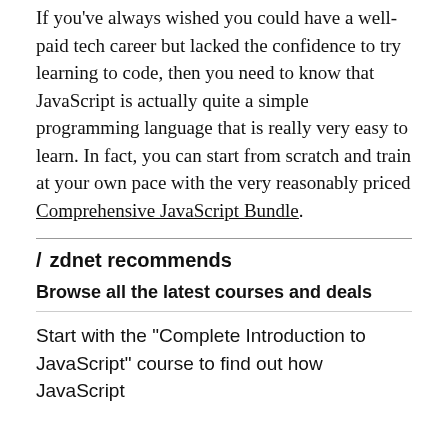If you've always wished you could have a well-paid tech career but lacked the confidence to try learning to code, then you need to know that JavaScript is actually quite a simple programming language that is really very easy to learn. In fact, you can start from scratch and train at your own pace with the very reasonably priced Comprehensive JavaScript Bundle.
/ zdnet recommends
Browse all the latest courses and deals
Start with the "Complete Introduction to JavaScript" course to find out how JavaScript